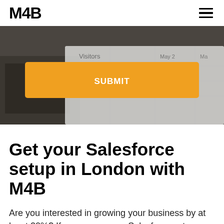M4B
[Figure (screenshot): Hero section with a blurred background image of a tablet/spreadsheet, a light grey card overlay, and an orange SUBMIT button in the center.]
Get your Salesforce setup in London with M4B
Are you interested in growing your business by at least 20%? If so, ensure your Salesforce setup